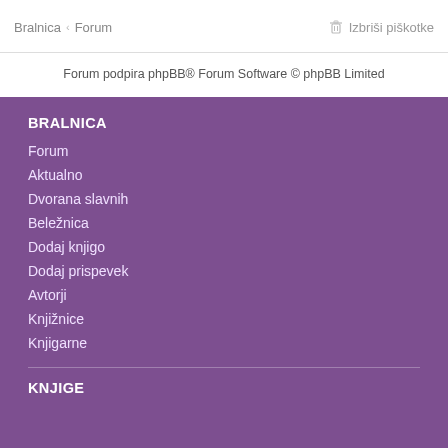Bralnica · Forum
Izbriši piškotke
Forum podpira phpBB® Forum Software © phpBB Limited
BRALNICA
Forum
Aktualno
Dvorana slavnih
Beležnica
Dodaj knjigo
Dodaj prispevek
Avtorji
Knjižnice
Knjigarne
KNJIGE